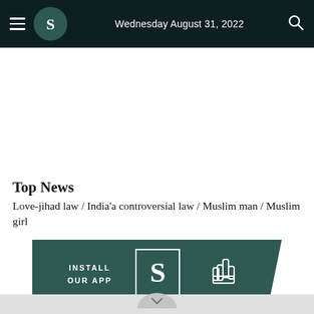Wednesday August 31, 2022
Top News
Love-jihad law / India'a controversial law / Muslim man / Muslim girl
[Figure (infographic): Dark teal app install banner with text 'INSTALL OUR APP', a square logo with stylized S letter, and a pointing hand cursor icon]
[Figure (other): Grey chevron/down-arrow button at bottom center of page]